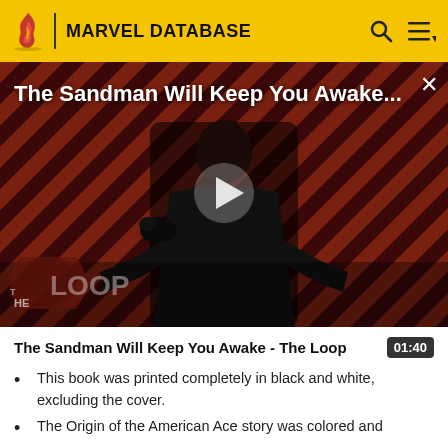MARVEL DATABASE
[Figure (screenshot): Video thumbnail showing a dark figure in a black cloak with a raven, against a red and black diagonal striped background. Title overlay reads 'The Sandman Will Keep You Awake...' with a play button in the center and 'THE LOOP' logo in the lower left.]
The Sandman Will Keep You Awake - The Loop
This book was printed completely in black and white, excluding the cover.
The Origin of the American Ace story was colored and